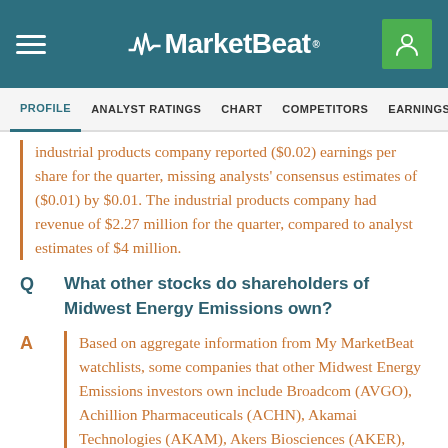MarketBeat
PROFILE  ANALYST RATINGS  CHART  COMPETITORS  EARNINGS  FINANCIALS
industrial products company reported ($0.02) earnings per share for the quarter, missing analysts' consensus estimates of ($0.01) by $0.01. The industrial products company had revenue of $2.27 million for the quarter, compared to analyst estimates of $4 million.
Q  What other stocks do shareholders of Midwest Energy Emissions own?
A  Based on aggregate information from My MarketBeat watchlists, some companies that other Midwest Energy Emissions investors own include Broadcom (AVGO), Achillion Pharmaceuticals (ACHN), Akamai Technologies (AKAM), Akers Biosciences (AKER), Akorn